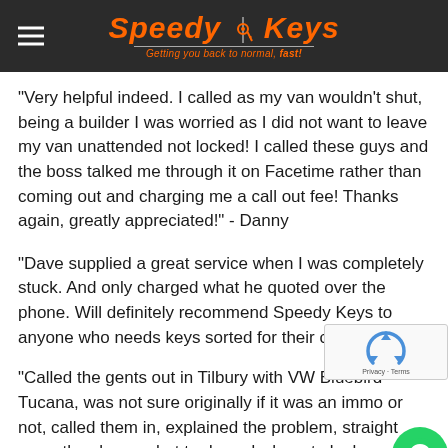Speedy Keys - Getting you back to normal, fast!
"Very helpful indeed. I called as my van wouldn't shut, being a builder I was worried as I did not want to leave my van unattended not locked! I called these guys and the boss talked me through it on Facetime rather than coming out and charging me a call out fee! Thanks again, greatly appreciated!" - Danny
"Dave supplied a great service when I was completely stuck. And only charged what he quoted over the phone. Will definitely recommend Speedy Keys to anyone who needs keys sorted for their car." - James
"Called the gents out in Tilbury with VW Bluebird Tucana, was not sure originally if it was an immo or not, called them in, explained the problem, straight away they knew what to do and where to look, agreed